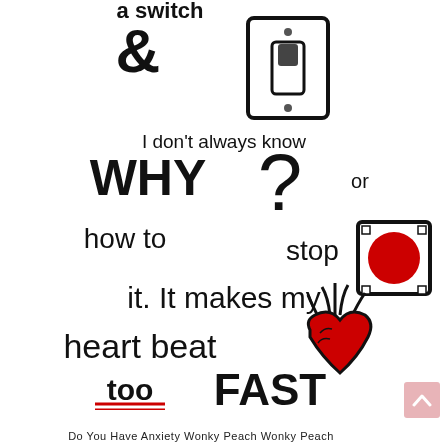[Figure (illustration): Hand-drawn style infographic about anxiety. Shows partial text 'a switch' at top cut off, an ampersand symbol, a light switch illustration, text 'I don't always know WHY ? or how to ? stop [red stop button icon] it. It makes my heart beat too FAST' with a hand-drawn anatomical heart illustration. The word 'too' is underlined with red double lines. Red and black color scheme.]
Do You Have Anxiety Wonky Peach Wonky Peach